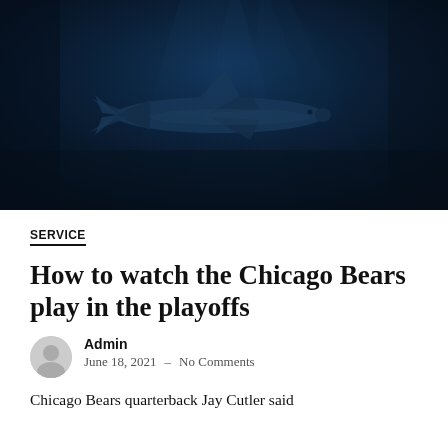[Figure (photo): Underwater photo of a shark swimming in dark blue water, viewed from below, with light rays visible in the background.]
SERVICE
How to watch the Chicago Bears play in the playoffs
Admin
June 18, 2021  –  No Comments
Chicago Bears quarterback Jay Cutler said